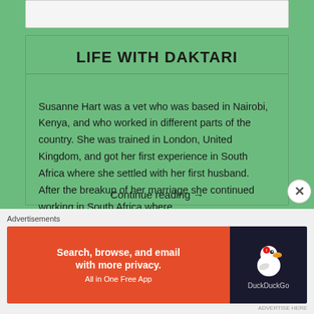LIFE WITH DAKTARI
Susanne Hart was a vet who was based in Nairobi, Kenya, and who worked in different parts of the country. She was trained in London, United Kingdom, and got her first experience in South Africa where she settled with her first husband.  After the breakup of her marriage she continued working in South Africa where …
Continue reading →
Advertisements
[Figure (screenshot): DuckDuckGo advertisement banner: orange left side with text 'Search, browse, and email with more privacy. All in One Free App', and dark right side with DuckDuckGo duck logo.]